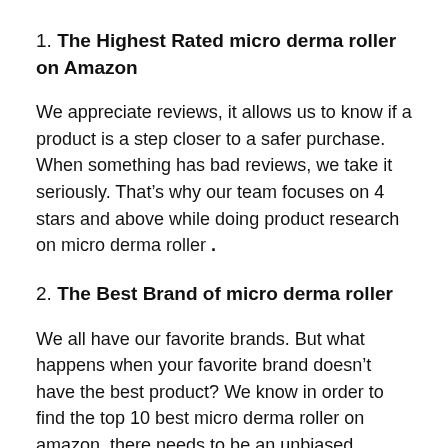1. The Highest Rated micro derma roller on Amazon
We appreciate reviews, it allows us to know if a product is a step closer to a safer purchase. When something has bad reviews, we take it seriously. That’s why our team focuses on 4 stars and above while doing product research on micro derma roller .
2. The Best Brand of micro derma roller
We all have our favorite brands. But what happens when your favorite brand doesn’t have the best product? We know in order to find the top 10 best micro derma roller on amazon, there needs to be an unbiased